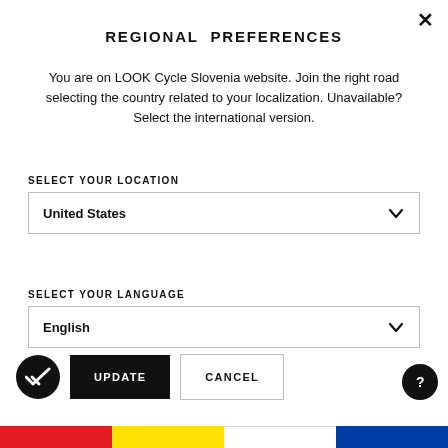REGIONAL PREFERENCES
You are on LOOK Cycle Slovenia website. Join the right road selecting the country related to your localization. Unavailable? Select the international version.
SELECT YOUR LOCATION
United States
SELECT YOUR LANGUAGE
English
UPDATE
CANCEL